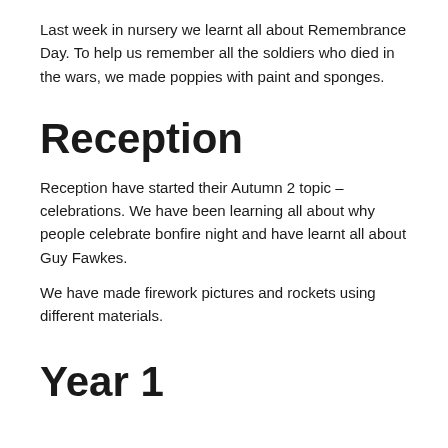Last week in nursery we learnt all about Remembrance Day. To help us remember all the soldiers who died in the wars, we made poppies with paint and sponges.
Reception
Reception have started their Autumn 2 topic – celebrations. We have been learning all about why people celebrate bonfire night and have learnt all about Guy Fawkes.
We have made firework pictures and rockets using different materials.
Year 1